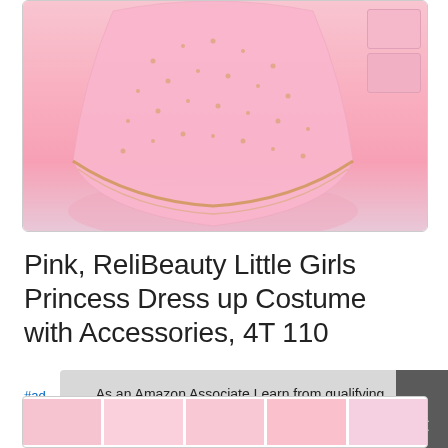[Figure (photo): Pink princess dress costume product photo with gold/floral lace overlay. Two pink accessory thumbnails visible in top right corner.]
Pink, ReliBeauty Little Girls Princess Dress up Costume with Accessories, 4T 110
#ad
As an Amazon Associate I earn from qualifying purchases. This website uses the only necessary cookies to ensure you get the best experience on our website. More information
[Figure (photo): Bottom strip of product thumbnail images showing the princess dress from various angles.]